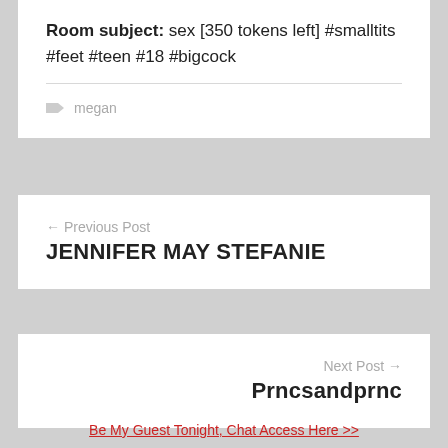Room subject: sex [350 tokens left] #smalltits #feet #teen #18 #bigcock
megan
← Previous Post JENNIFER MAY STEFANIE
Next Post → Prncsandprnc
Be My Guest Tonight, Chat Access Here >>